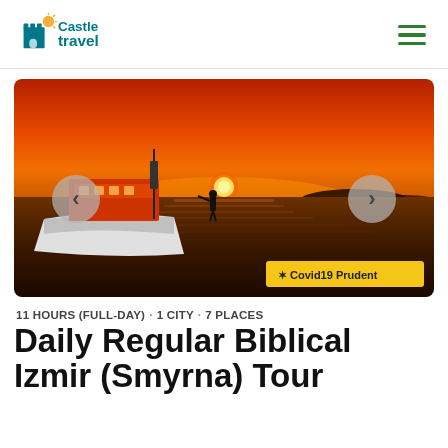[Figure (logo): Castle Travel logo with castle icon and sun graphic, teal/orange colors]
[Figure (photo): Sunset scene with a boat silhouetted against an orange sky over water, with a person standing on the boat. Navigation arrows on left and right. Covid19 Prudent badge in bottom right.]
11 HOURS (FULL-DAY) · 1 CITY · 7 PLACES
Daily Regular Biblical Izmir (Smyrna) Tour